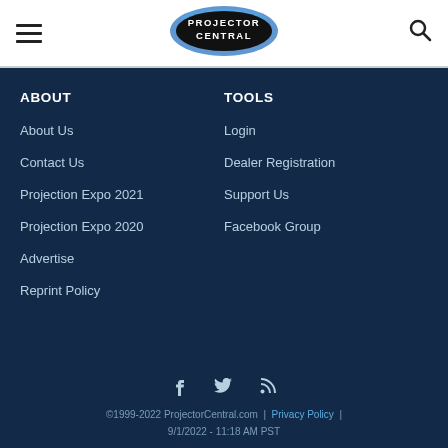Projector Central navigation header with hamburger menu, logo, and search icon
ABOUT
About Us
Contact Us
Projection Expo 2021
Projection Expo 2020
Advertise
Reprint Policy
TOOLS
Login
Dealer Registration
Support Us
Facebook Group
©1999-2022 ProjectorCentral.com | Privacy Policy | 9/1/2022 - 11:18 AM PST